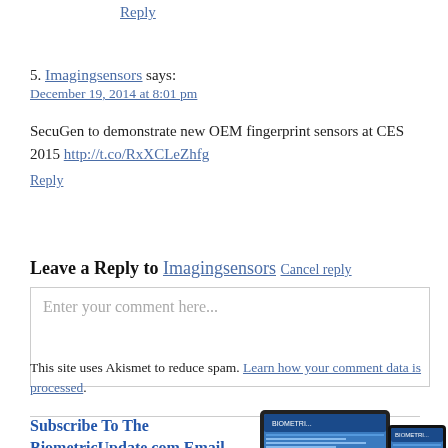Reply
5. Imagingsensors says: December 19, 2014 at 8:01 pm
SecuGen to demonstrate new OEM fingerprint sensors at CES 2015 http://t.co/RxXCLeZhfg
Reply
Leave a Reply to Imagingsensors Cancel reply
Enter your comment here...
This site uses Akismet to reduce spam. Learn how your comment data is processed.
Subscribe To The BiometricUpdate.com Email Newsletter
[Figure (photo): Tablet and phone devices showing BiometricUpdate.com website]